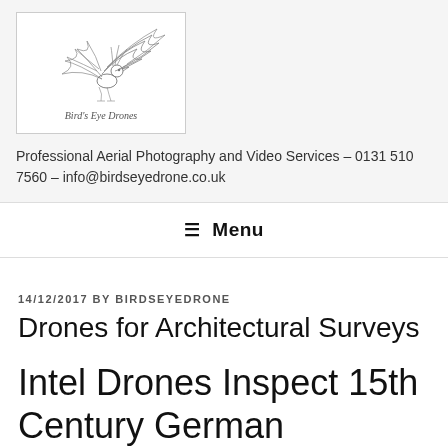[Figure (logo): Bird's Eye Drones logo with stylized phoenix/bird illustration and text 'Bird's Eye Drones' beneath]
Professional Aerial Photography and Video Services – 0131 510 7560 – info@birdseyedrone.co.uk
☰ Menu
14/12/2017 BY BIRDSEYEDRONE
Drones for Architectural Surveys
Intel Drones Inspect 15th Century German Cathedral and Artwork